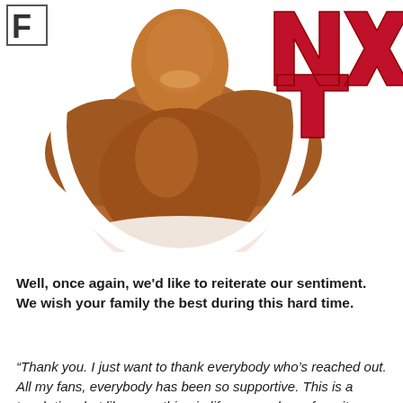[Figure (photo): A muscular Black male wrestler smiling, shirtless, with the WWE NXT logo in red in the top right corner and an 'SF' logo in the top left corner. White background.]
Well, once again, we'd like to reiterate our sentiment. We wish your family the best during this hard time.
“Thank you. I just want to thank everybody who’s reached out. All my fans, everybody has been so supportive. This is a tough time but like everything in life we can learn from it